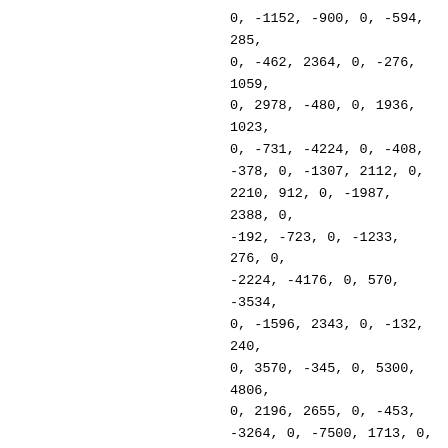0, -1152, -900, 0, -594, 285, 0, -462, 2364, 0, -276, 1059, 0, 2978, -480, 0, 1936, 1023, 0, -731, -4224, 0, -408, -378, 0, -1307, 2112, 0, 2210, 912, 0, -1987, 2388, 0, -192, -723, 0, -1233, 276, 0, -2224, -4176, 0, 570, -3534, 0, -1596, 2343, 0, -132, 240, 0, 3570, -345, 0, 5300, 4806, 0, 2196, 2655, 0, -453, -3264, 0, -7500, 1713, 0, 617, 126, 0, -8280, 204, 0, -2415, 876, 0, 2724, -1875, 0, -106, -5562, 0, 5084, -1050, 0, 5840, 1056, 0, -920, -1023, 0, 12771, -4176, 0, -960, 147, 0, -4912, 1200, 0, -5412, 2838, 0, -3154, 15336, 0, 12752, 7455, 0,